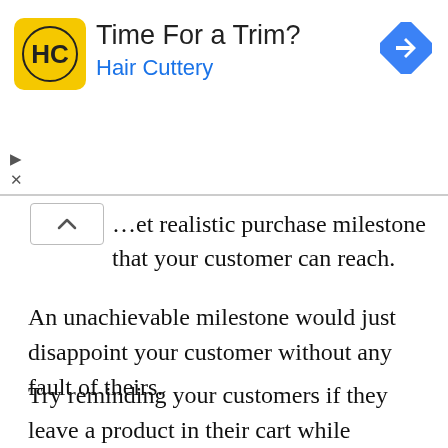[Figure (other): Advertisement banner for Hair Cuttery: yellow logo with HC text, title 'Time For a Trim?', subtitle 'Hair Cuttery', blue diamond navigation icon on right, with ad controls (triangle/X) below left]
…et realistic purchase milestone that your customer can reach.
An unachievable milestone would just disappoint your customer without any fault of theirs.
Try reminding your customers if they leave a product in their cart while shopping midway. Just like ecommerce giants like Amazon and Flipkart do every time you leave shopping midway for whatever reasons.